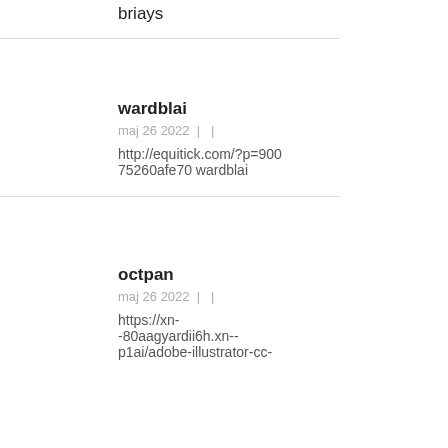briays
wardblai
maj 26 2022  |   |
http://equitick.com/?p=90075260afe70 wardblai
octpan
maj 26 2022  |   |
https://xn--80aagyardii6h.xn--p1ai/adobe-illustrator-cc-